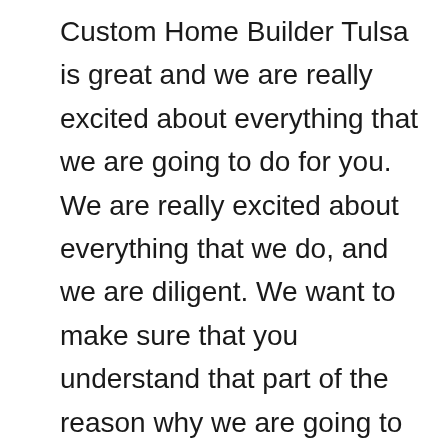Custom Home Builder Tulsa is great and we are really excited about everything that we are going to do for you. We are really excited about everything that we do, and we are diligent. We want to make sure that you understand that part of the reason why we are going to do so well is because we are going to be diligent and because we're going to work hard. We want to make sure that you understand that if you are a parent, we are definitely going to be able to help you, and the help that we are going to provide is going to be powerful. The way